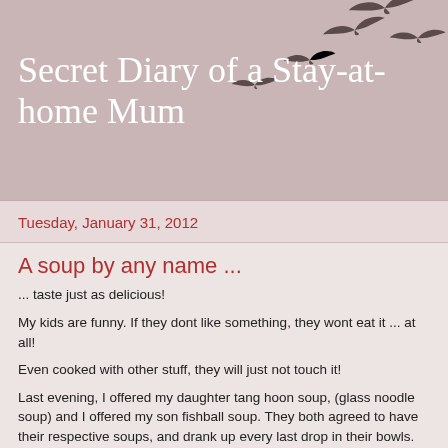Secret Diary of a Stay-at-home Mum
[Figure (illustration): Silhouettes of birds flying in a loose V-formation against a pinkish-beige background]
Tuesday, January 31, 2012
A soup by any name ...
... taste just as delicious!
My kids are funny. If they dont like something, they wont eat it ... at all!
Even cooked with other stuff, they will just not touch it!
Last evening, I offered my daughter tang hoon soup, (glass noodle soup) and I offered my son fishball soup. They both agreed to have their respective soups, and drank up every last drop in their bowls.